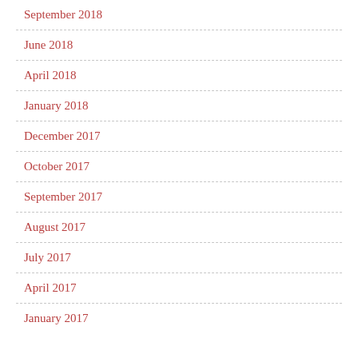September 2018
June 2018
April 2018
January 2018
December 2017
October 2017
September 2017
August 2017
July 2017
April 2017
January 2017